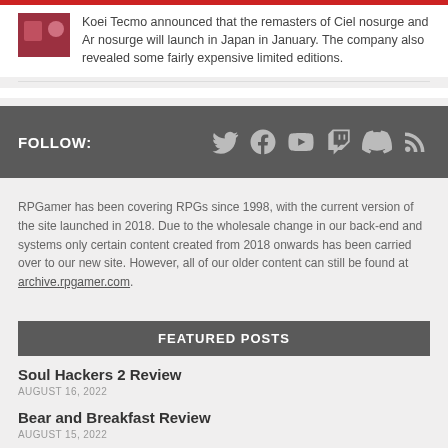Koei Tecmo announced that the remasters of Ciel nosurge and Ar nosurge will launch in Japan in January. The company also revealed some fairly expensive limited editions.
FOLLOW:
RPGamer has been covering RPGs since 1998, with the current version of the site launched in 2018. Due to the wholesale change in our back-end and systems only certain content created from 2018 onwards has been carried over to our new site. However, all of our older content can still be found at archive.rpgamer.com.
FEATURED POSTS
Soul Hackers 2 Review
AUGUST 16, 2022
Bear and Breakfast Review
AUGUST 15, 2022